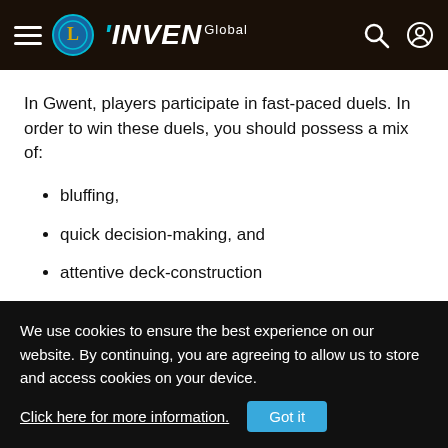INVEN Global
In Gwent, players participate in fast-paced duels. In order to win these duels, you should possess a mix of:
bluffing,
quick decision-making, and
attentive deck-construction
skills
We use cookies to ensure the best experience on our website. By continuing, you are agreeing to allow us to store and access cookies on your device. Click here for more information. Got it